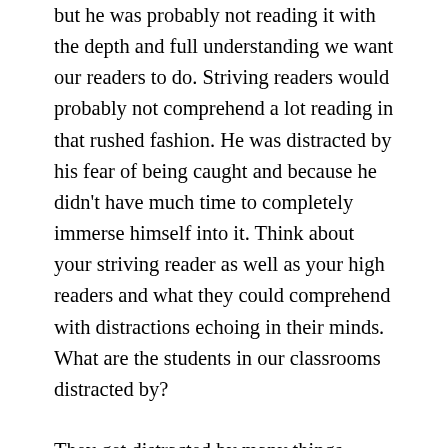but he was probably not reading it with the depth and full understanding we want our readers to do. Striving readers would probably not comprehend a lot reading in that rushed fashion. He was distracted by his fear of being caught and because he didn't have much time to completely immerse himself into it. Think about your striving reader as well as your high readers and what they could comprehend with distractions echoing in their minds. What are the students in our classrooms distracted by?
They get distracted by many things. Emotions and experiences they bring to school with them, that weigh them down. Or distracted when asked to use a strategy or skill they may